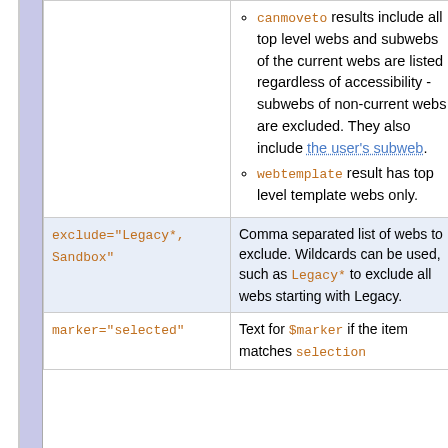| Parameter | Description | Default |
| --- | --- | --- |
| (continuation of canmoveto row) | canmoveto results include all top level webs and subwebs of the current webs are listed regardless of accessibility - subwebs of non-current webs are excluded. They also include the user's subweb.
webtemplate result has top level template webs only. |  |
| exclude="Legacy*, Sandbox" | Comma separated list of webs to exclude. Wildcards can be used, such as Legacy* to exclude all webs starting with Legacy. | "" |
| marker="selected" | Text for $marker if the item matches selection | "se |